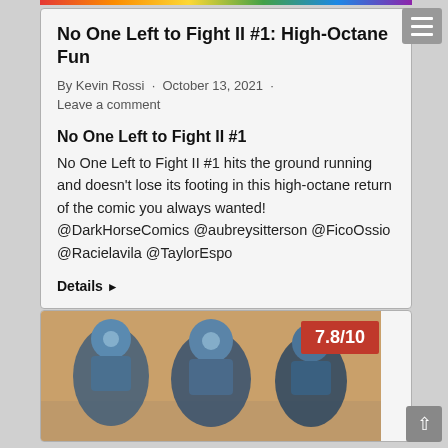No One Left to Fight II #1: High-Octane Fun
By Kevin Rossi · October 13, 2021 · Leave a comment
No One Left to Fight II #1
No One Left to Fight II #1 hits the ground running and doesn't lose its footing in this high-octane return of the comic you always wanted! @DarkHorseComics @aubreysitterson @FicoOssio @Racielavila @TaylorEspo
Details ▶
[Figure (illustration): Comic book artwork showing armored soldiers/characters in action poses, with a red score badge showing 7.8/10]